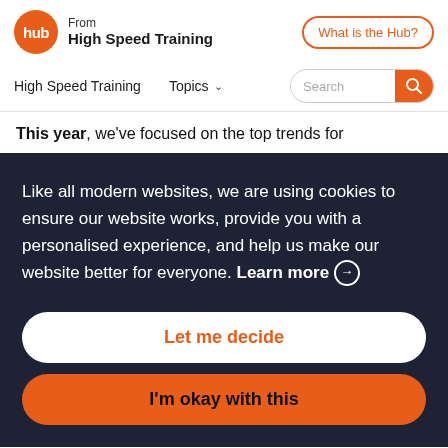From High Speed Training | What is the Hub?
High Speed Training | Topics | Search
This year, we've focused on the top trends for
Like all modern websites, we are using cookies to ensure our website works, provide you with a personalised experience, and help us make our website better for everyone. Learn more →
Let me decide
I'm okay with this